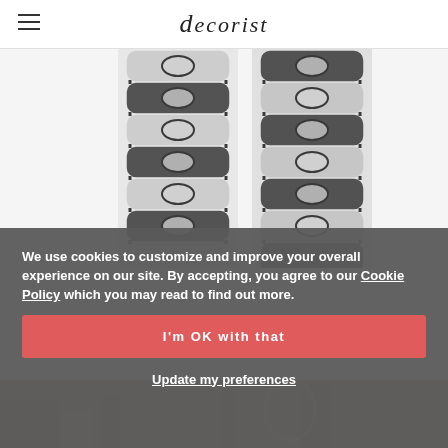decorist
[Figure (photo): Two panels of black and white geometric patterned curtains/drapes side by side on white background]
We use cookies to customize and improve your overall experience on our site. By accepting, you agree to our Cookie Policy which you may read to find out more.
I'm OK with that
Update my preferences
[Figure (photo): Room interior scene partially visible at bottom of page]